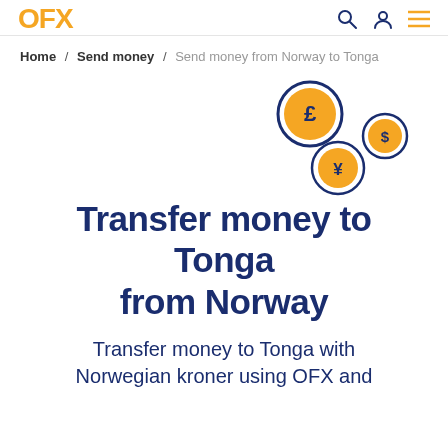OFX
Home / Send money / Send money from Norway to Tonga
[Figure (illustration): Three currency coin icons with dark navy borders and orange fill — a pound (£) coin top-center, a dollar ($) coin to its right, and a yen (¥) coin below — scattered in the upper-right area of the page.]
Transfer money to Tonga from Norway
Transfer money to Tonga with Norwegian kroner using OFX and